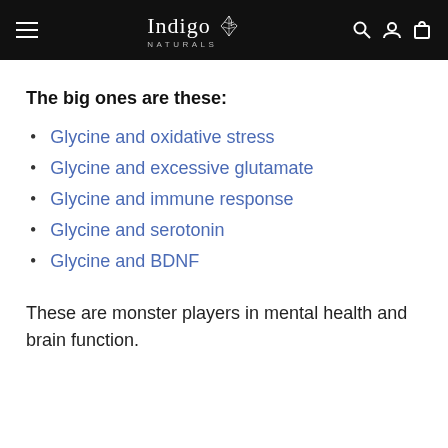Indigo Naturals
The big ones are these:
Glycine and oxidative stress
Glycine and excessive glutamate
Glycine and immune response
Glycine and serotonin
Glycine and BDNF
These are monster players in mental health and brain function.